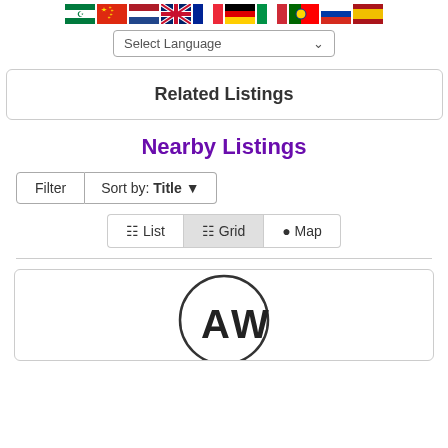[Figure (illustration): Row of country flags: Arabic, Chinese, Dutch, British, French, German, Italian, Portuguese, Russian, Spanish]
[Figure (screenshot): Select Language dropdown control]
Related Listings
Nearby Listings
[Figure (screenshot): Filter and Sort by Title controls with List, Grid, Map view toggle buttons]
[Figure (logo): Circular logo with letters AW inside]